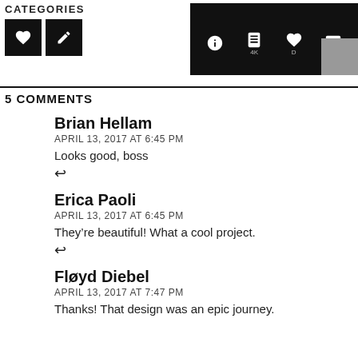[Figure (screenshot): Top toolbar with CATEGORIES label, heart and pencil icon buttons on the left, and right toolbar with i, book, heart, comment icons and a thumbnail image]
5 COMMENTS
Brian Hellam
APRIL 13, 2017 AT 6:45 PM
Looks good, boss
Erica Paoli
APRIL 13, 2017 AT 6:45 PM
They're beautiful! What a cool project.
Fløyd Diebel
APRIL 13, 2017 AT 7:47 PM
Thanks! That design was an epic journey.